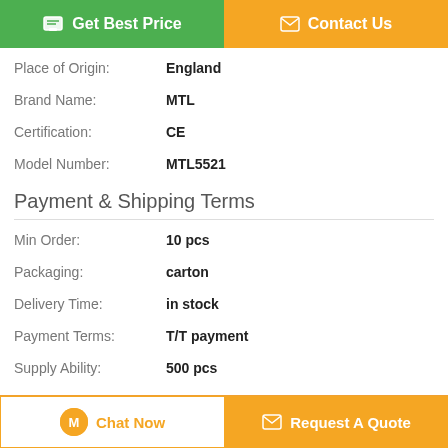Get Best Price | Contact Us
| Place of Origin: | England |
| Brand Name: | MTL |
| Certification: | CE |
| Model Number: | MTL5521 |
Payment & Shipping Terms
| Min Order: | 10 pcs |
| Packaging: | carton |
| Delivery Time: | in stock |
| Payment Terms: | T/T payment |
| Supply Ability: | 500 pcs |
Description
MTL 5500 Series Isolators
Chat Now | Request A Quote